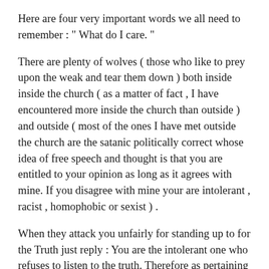Here are four very important words we all need to remember : “ What do I care. “
There are plenty of wolves ( those who like to prey upon the weak and tear them down ) both inside inside the church ( as a matter of fact , I have encountered more inside the church than outside ) and outside ( most of the ones I have met outside the church are the satanic politically correct whose idea of free speech and thought is that you are entitled to your opinion as long as it agrees with mine. If you disagree with mine your are intolerant , racist , homophobic or sexist ) .
When they attack you unfairly for standing up to for the Truth just reply : You are the intolerant one who refuses to listen to the truth. Therefore as pertaining to your “ opinion “ “ What do I care. “ and this goes for the rest of the